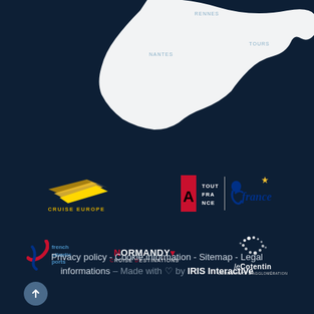[Figure (map): Partial map of western France (dark navy background) showing a white landmass region with city labels: RENNES, TOURS, NANTES]
[Figure (logo): Cruise Europe logo - golden/yellow angular arrow shapes above text 'CRUISE EUROPE']
[Figure (logo): Atout France logo - red vertical rectangle with letter 'A' and 'ATOUT FRANCE' text, paired with stylized 'france' script logo with blue figure and star]
[Figure (logo): French Atlantic Ports logo - red and blue swoosh/arrow with 'french atlantic ports' text]
[Figure (logo): Normandy Cruise Destinations logo - red and white bold text 'NORMANDY' above 'CRUISE DESTINATIONS']
[Figure (logo): Le Cotentin logo - white seabird graphic with 'leCotentin' text and small subtitle]
Privacy policy - Cookie information - Sitemap - Legal informations - Made with ♡ by IRIS Interactive